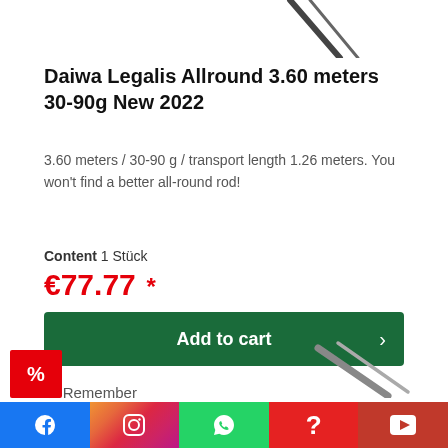[Figure (photo): Partial view of a fishing rod at the top of the page, angled diagonally]
Daiwa Legalis Allround 3.60 meters 30-90g New 2022
3.60 meters / 30-90 g / transport length 1.26 meters. You won't find a better all-round rod!
Content 1 Stück
€77.77 *
Add to cart
Remember
[Figure (other): Partial view of a fishing rod at the bottom right and a red percent badge at bottom left]
Facebook | Instagram | WhatsApp | Help | YouTube